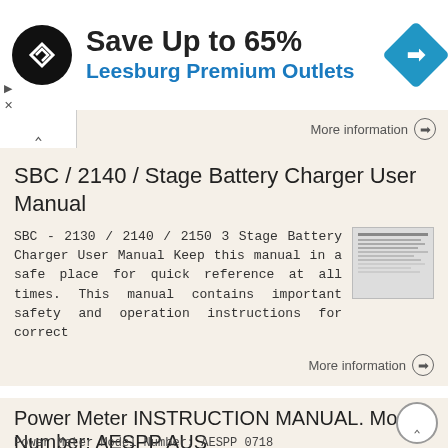[Figure (screenshot): Advertisement banner: Save Up to 65% Leesburg Premium Outlets with logo and navigation arrow icon]
More information →
SBC / 2140 / Stage Battery Charger User Manual
SBC - 2130 / 2140 / 2150 3 Stage Battery Charger User Manual Keep this manual in a safe place for quick reference at all times. This manual contains important safety and operation instructions for correct
More information →
Power Meter INSTRUCTION MANUAL. Model Number: AESPP AUS
Power Meter Model Number: AESPP 0718